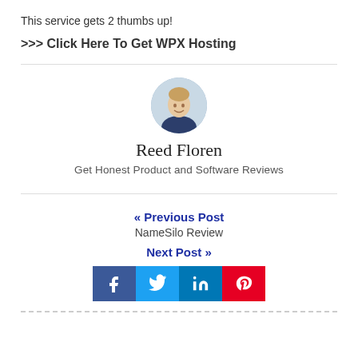This service gets 2 thumbs up!
>>> Click Here To Get WPX Hosting
[Figure (photo): Circular avatar photo of Reed Floren, a young man smiling]
Reed Floren
Get Honest Product and Software Reviews
« Previous Post
NameSilo Review
Next Post »
[Figure (infographic): Social sharing bar with Facebook, Twitter, LinkedIn, and Pinterest buttons]